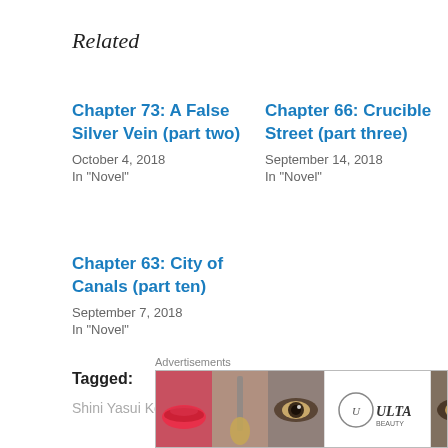Related
Chapter 73: A False Silver Vein (part two)
October 4, 2018
In "Novel"
Chapter 66: Crucible Street (part three)
September 14, 2018
In "Novel"
Chapter 63: City of Canals (part ten)
September 7, 2018
In "Novel"
Tagged:
Shini Yasui Kōshaku Reijō to Shichi-nin no Kikōshi
[Figure (advertisement): Ulta Beauty advertisement banner showing makeup/beauty product images with SHOP NOW call to action]